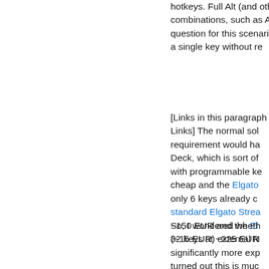hotkeys. Full Alt (and other modifier) combinations, such as Alt+Tab, are out of question for this scenario since I need a single key without re...
[Links in this paragraph are Affiliate Links] The normal solution to this requirement would have been a Stream Deck, which is sort of a special keyboard with programmable keys. The Elgato Mini is cheap and the Elgato ... only 6 keys already c... standard Elgato Strea... ~150 EUR and the El... 32 keys at ~225 EUR...
So, I wondered whether a cheap (~15 EUR) external N... significantly more exp... turned out this is muc... anticipated.